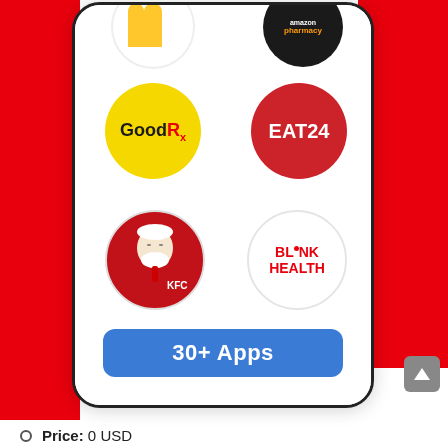[Figure (screenshot): Screenshot of a mobile phone displaying various app logos in circular icons: McDonald's (partially visible), Amazon Pharmacy (partially visible), GoodRx (yellow circle), EAT24 (red circle), KFC (red circle with Colonel Sanders), Blink Health (white circle), and a blue '30+ Apps' button. The phone is displayed on a red and white background.]
Price: 0 USD